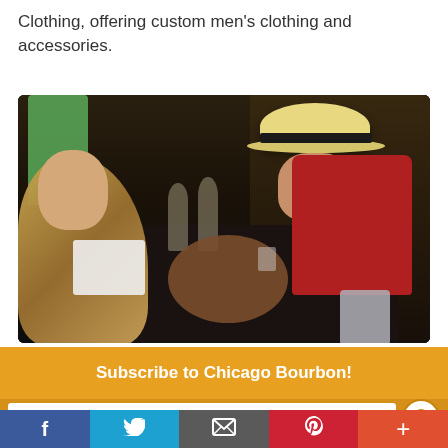Clothing, offering custom men's clothing and accessories.
[Figure (photo): Two people at a dark table — a woman with blonde hair on the left and a man wearing a red shirt and white straw hat on the right, appearing to examine something on the table. Wine glasses and various items are visible on the black tablecloth.]
Subscribe to Chicago Bourbon!
Enter your email